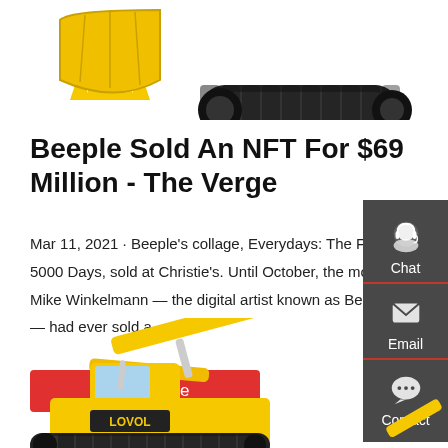[Figure (photo): Top portion of yellow excavator with bucket on left and tracked undercarriage on right, white background]
Beeple Sold An NFT For $69 Million - The Verge
Mar 11, 2021 · Beeple's collage, Everydays: The First 5000 Days, sold at Christie's. Until October, the most Mike Winkelmann — the digital artist known as Beeple — had ever sold a ...
[Figure (infographic): Dark grey sidebar with Chat, Email, and Contact icons and labels]
[Figure (photo): Yellow LOVOL excavator on white background, lower portion of page]
Get a quote